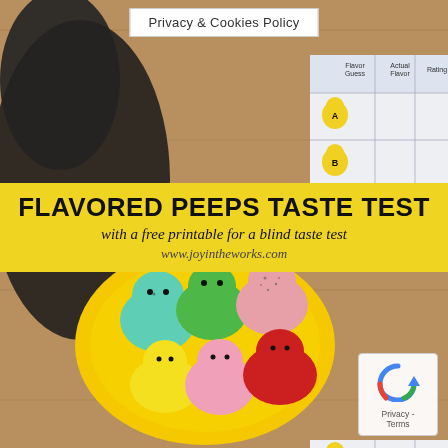[Figure (photo): Photo of flavored Peeps marshmallow chicks on a yellow plate on a wooden surface, with a taste test printable worksheet visible in the background showing labeled peep icons (A, B, F) and columns for Flavor Guess, Actual Flavor, and Rating.]
Privacy & Cookies Policy
FLAVORED PEEPS TASTE TEST
with a free printable for a blind taste test
www.joyintheworks.com